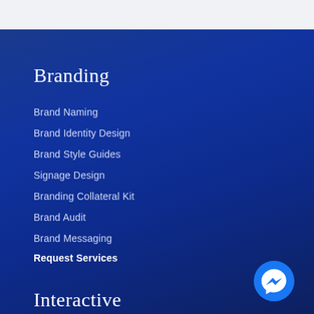Branding
Brand Naming
Brand Identity Design
Brand Style Guides
Signage Design
Branding Collateral Kit
Brand Audit
Brand Messaging
Request Services
[Figure (logo): Facebook Messenger chat button icon - circular blue button with white messenger lightning bolt logo]
Interactive